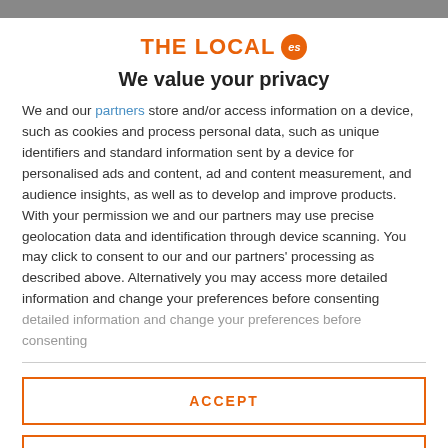[Figure (logo): The Local ES logo — orange text 'THE LOCAL' with an orange circle badge containing 'es']
We value your privacy
We and our partners store and/or access information on a device, such as cookies and process personal data, such as unique identifiers and standard information sent by a device for personalised ads and content, ad and content measurement, and audience insights, as well as to develop and improve products. With your permission we and our partners may use precise geolocation data and identification through device scanning. You may click to consent to our and our partners' processing as described above. Alternatively you may access more detailed information and change your preferences before consenting
ACCEPT
MORE OPTIONS